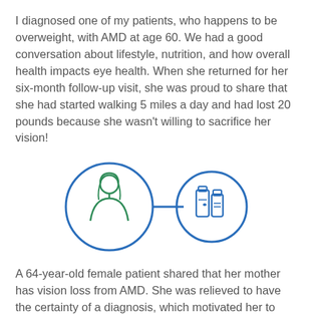I diagnosed one of my patients, who happens to be overweight, with AMD at age 60. We had a good conversation about lifestyle, nutrition, and how overall health impacts eye health. When she returned for her six-month follow-up visit, she was proud to share that she had started walking 5 miles a day and had lost 20 pounds because she wasn't willing to sacrifice her vision!
[Figure (illustration): Two connected circles: left circle (larger, blue outline) contains a green icon of a female person; right circle (smaller, blue outline) contains a blue icon of supplement/vitamin bottles. The circles are connected by a horizontal blue line.]
A 64-year-old female patient shared that her mother has vision loss from AMD. She was relieved to have the certainty of a diagnosis, which motivated her to take action to help prevent the disease from progressing, as it had for her mother.